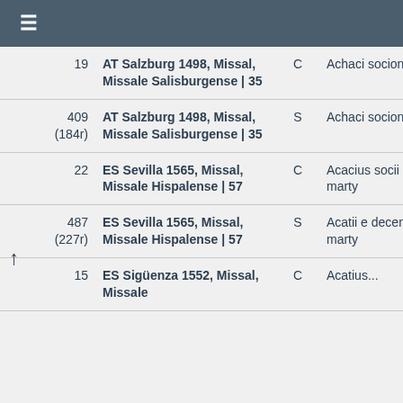☰
| # | Reference | Type | Text |
| --- | --- | --- | --- |
| 19 | AT Salzburg 1498, Missal, Missale Salisburgense | 35 | C | Achaci socion |
| 409 (184r) | AT Salzburg 1498, Missal, Missale Salisburgense | 35 | S | Achaci socion |
| 22 | ES Sevilla 1565, Missal, Missale Hispalense | 57 | C | Acacius socii ei marty |
| 487 (227r) | ES Sevilla 1565, Missal, Missale Hispalense | 57 | S | Acatii e decem marty |
| 15 | ES Sigüenza 1552, Missal, Missale... | C | Acatius... |